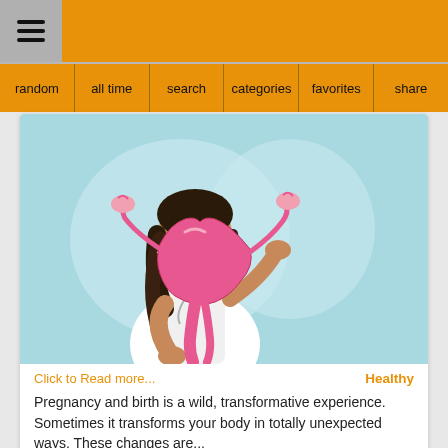≡ (hamburger menu)
random  all time  search  categories  favorites  share
[Figure (illustration): Medical illustration of a female doctor in a white coat and face mask holding a uterus/reproductive system model against a light blue background]
Click to Read more...
Healthy
Pregnancy and birth is a wild, transformative experience.  Sometimes it transforms your body in totally unexpected ways. These changes are...
♥